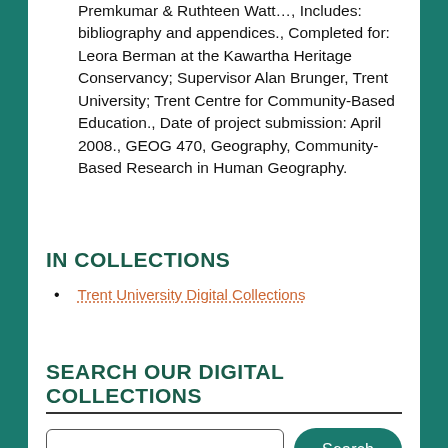Premkumar & Ruthteen Watt…, Includes: bibliography and appendices., Completed for: Leora Berman at the Kawartha Heritage Conservancy; Supervisor Alan Brunger, Trent University; Trent Centre for Community-Based Education., Date of project submission: April 2008., GEOG 470, Geography, Community-Based Research in Human Geography.
IN COLLECTIONS
Trent University Digital Collections
SEARCH OUR DIGITAL COLLECTIONS